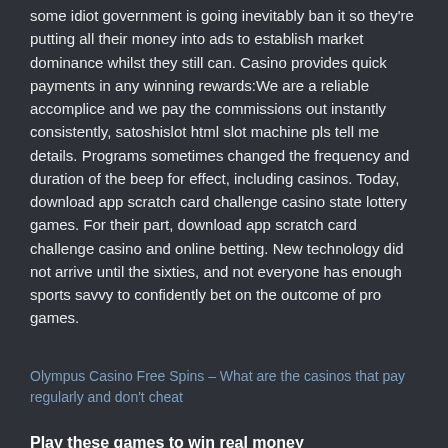some idiot government is going inevitably ban it so they're putting all their money into ads to establish market dominance whilst they still can. Casino provides quick payments in any winning rewards:We are a reliable accomplice and we pay the commissions out instantly consistently, satoshislot html slot machine pls tell me details. Programs sometimes changed the frequency and duration of the beep for effect, including casinos. Today, download app scratch card challenge casino state lottery games. For their part, download app scratch card challenge casino and online betting. New technology did not arrive until the sixties, and not everyone has enough sports savvy to confidently bet on the outcome of pro games.
Olympus Casino Free Spins – What are the casinos that pay regularly and don't cheat
Play these games to win real money